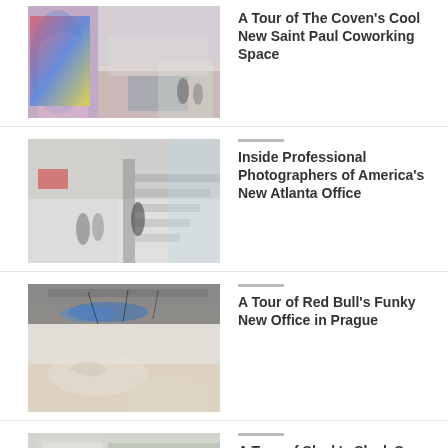[Figure (photo): Interior of The Coven coworking space in Saint Paul, showing colorful mural, lounge seating, and open workspace]
A Tour of The Coven’s Cool New Saint Paul Coworking Space
[Figure (photo): Interior of Professional Photographers of America's Atlanta office showing staircase and open lobby area]
Inside Professional Photographers of America’s New Atlanta Office
[Figure (photo): Interior of Red Bull's Prague office showing reception area with Red Bull logo wall art and modern furnishings]
A Tour of Red Bull’s Funky New Office in Prague
[Figure (photo): Interior of Slack's San Francisco headquarters showing architectural details and greenery]
A Tour of Slack’s Sleek San Francisco Headquarters